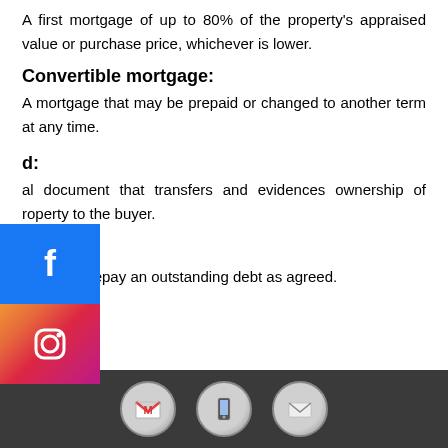A first mortgage of up to 80% of the property's appraised value or purchase price, whichever is lower.
Convertible mortgage:
A mortgage that may be prepaid or changed to another term at any time.
d:
al document that transfers and evidences ownership of roperty to the buyer.
Default:
Failure to repay an outstanding debt as agreed.